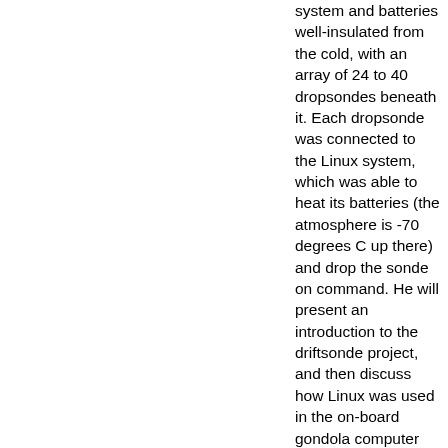system and batteries well-insulated from the cold, with an array of 24 to 40 dropsondes beneath it. Each dropsonde was connected to the Linux system, which was able to heat its batteries (the atmosphere is -70 degrees C up there) and drop the sonde on command. He will present an introduction to the driftsonde project, and then discuss how Linux was used in the on-board gondola computer and explain how using the Python